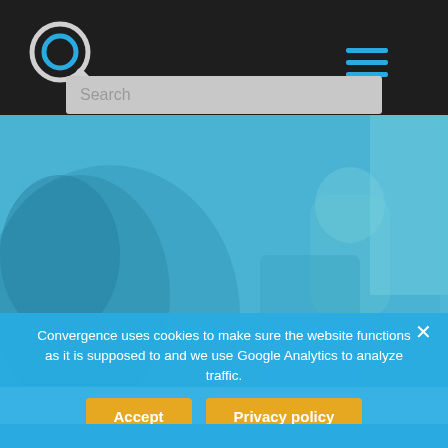[Figure (logo): Circular magnifying glass logo with blue ring and arrow, white outline on dark background]
[Figure (other): Hamburger menu icon with three horizontal blue lines on dark background]
[Figure (other): Search input box with placeholder text 'Search' on dark header bar]
[Figure (photo): Blurred blue-tinted interior photo showing passengers, possibly on a bus or transit vehicle]
Convergence uses cookies to make sure the website functions as it is supposed to and we use Google Analytics to analyze traffic.
[Figure (other): Accept button (golden/orange) and Privacy policy button (golden/orange) on blue cookie banner]